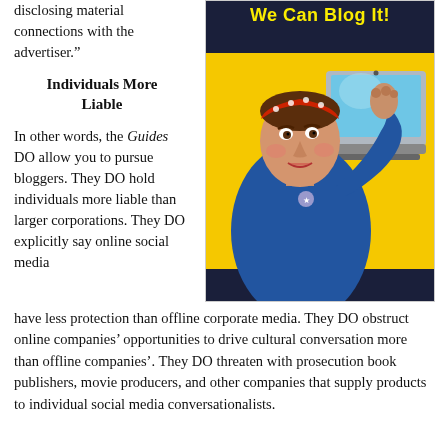disclosing material connections with the advertiser.”
Individuals More Liable
In other words, the Guides DO allow you to pursue bloggers. They DO hold individuals more liable than larger corporations. They DO explicitly say online social media have less protection than offline corporate media. They DO obstruct online companies’ opportunities to drive cultural conversation more than offline companies’. They DO threaten with prosecution book publishers, movie producers, and other companies that supply products to individual social media conversationalists.
[Figure (illustration): Rosie the Riveter parody poster titled 'We Can Blog It!' showing a woman in a blue shirt with a red polka-dot headband flexing her arm beside a laptop computer, on a yellow background with dark blue top panel.]